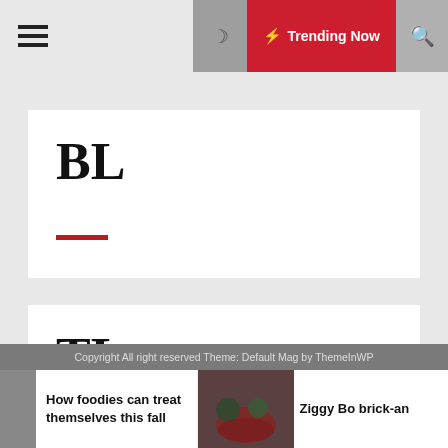☰  ☽  ⚡ Trending Now  🔍
[Figure (logo): BL logo with red underline in white card]
[Figure (logo): TL logo with red underline in white card]
buy high da pbn backlinks
Copyright All right reserved Theme: Default Mag by ThemeInWP
How foodies can treat themselves this fall
Ziggy Bo brick-an